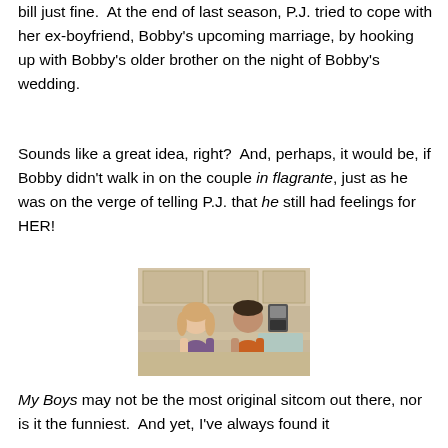bill just fine.  At the end of last season, P.J. tried to cope with her ex-boyfriend, Bobby's upcoming marriage, by hooking up with Bobby's older brother on the night of Bobby's wedding.
Sounds like a great idea, right?  And, perhaps, it would be, if Bobby didn't walk in on the couple in flagrante, just as he was on the verge of telling P.J. that he still had feelings for HER!
[Figure (photo): Two people, a woman in a purple top and a man in an orange shirt, facing each other in what appears to be a kitchen setting.]
My Boys may not be the most original sitcom out there, nor is it the funniest.  And yet, I've always found it